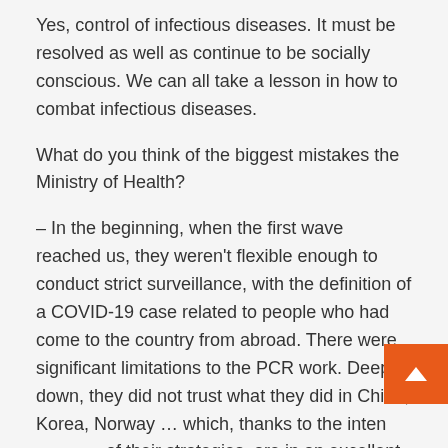Yes, control of infectious diseases. It must be resolved as well as continue to be socially conscious. We can all take a lesson in how to combat infectious diseases.
What do you think of the biggest mistakes the Ministry of Health?
– In the beginning, when the first wave reached us, they weren't flexible enough to conduct strict surveillance, with the definition of a COVID-19 case related to people who had come to the country from abroad. There were significant limitations to the PCR work. Deep down, they did not trust what they did in China, Korea, Norway … which, thanks to the intensity of their strategies, are in an excellent position. We had leaders who did not prioritize supporting the technical infrastructure to courageously face what was